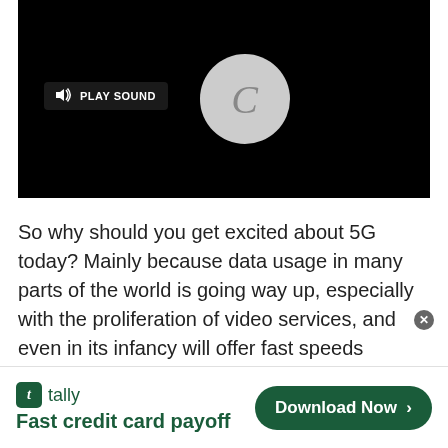[Figure (screenshot): A video player with black background, a 'PLAY SOUND' button with speaker icon on the left, and a loading spinner (grey circle with letter C) in the center-right area.]
So why should you get excited about 5G today? Mainly because data usage in many parts of the world is going way up, especially with the proliferation of video services, and even in its infancy will offer fast speeds
[Figure (screenshot): Advertisement banner for Tally app. Shows Tally logo with icon and name, tagline 'Fast credit card payoff', and a 'Download Now' button with arrow.]